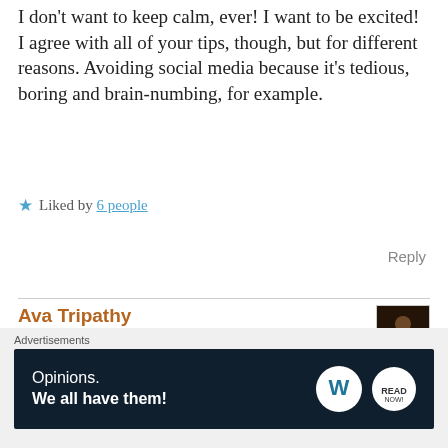I don't want to keep calm, ever! I want to be excited! I agree with all of your tips, though, but for different reasons. Avoiding social media because it's tedious, boring and brain-numbing, for example.
★ Liked by 6 people
Reply
Ava Tripathy
5th Apr 2020 at 2:04 pm
Well having an exciting life also has it's own benefits. Thank you for sharing your views Ambre 😊
Advertisements
Opinions. We all have them!